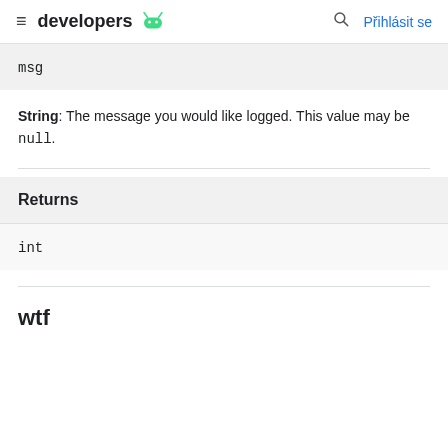≡ developers 🤖 🔍 Přihlásit se
msg
String: The message you would like logged. This value may be null.
Returns
int
wtf